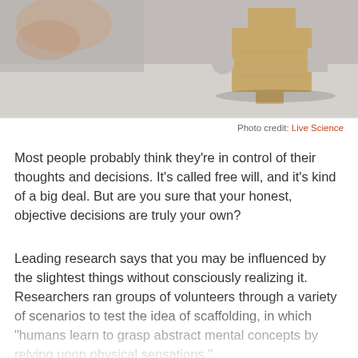[Figure (photo): A hand holding a cork or cardboard puzzle piece cutout against a light gray surface. The piece appears to be shaped like a house or building silhouette.]
Photo credit: Live Science
Most people probably think they’re in control of their thoughts and decisions. It’s called free will, and it’s kind of a big deal. But are you sure that your honest, objective decisions are truly your own?
Leading research says that you may be influenced by the slightest things without consciously realizing it. Researchers ran groups of volunteers through a variety of scenarios to test the idea of scaffolding, in which “homans learn to grasp abstract mental concepts by relying upon physical sensations.”
Subjects evaluating resumes on heavy clipboards rated them as more serious than resumes on light clipboards. In a different test, subjects in hard seats were less likely to a